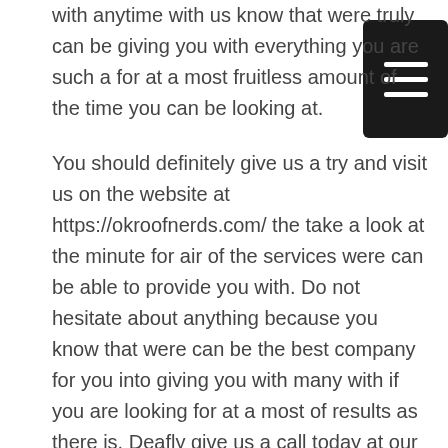with anytime with us know that were truly can be giving you with everything you are such a for at a most fruitless amount of the time you can be looking at.
You should definitely give us a try and visit us on the website at https://okroofnerds.com/ the take a look at the minute for air of the services were can be able to provide you with. Do not hesitate about anything because you know that were can be the best company for you into giving you with many with if you are looking for at a most of results as there is. Deafly give us a call today at our